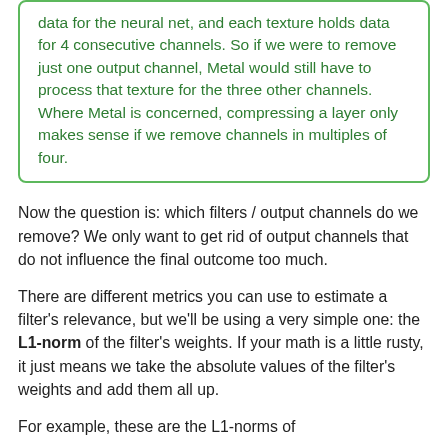data for the neural net, and each texture holds data for 4 consecutive channels. So if we were to remove just one output channel, Metal would still have to process that texture for the three other channels. Where Metal is concerned, compressing a layer only makes sense if we remove channels in multiples of four.
Now the question is: which filters / output channels do we remove? We only want to get rid of output channels that do not influence the final outcome too much.
There are different metrics you can use to estimate a filter's relevance, but we'll be using a very simple one: the L1-norm of the filter's weights. If your math is a little rusty, it just means we take the absolute values of the filter's weights and add them all up.
For example, these are the L1-norms of